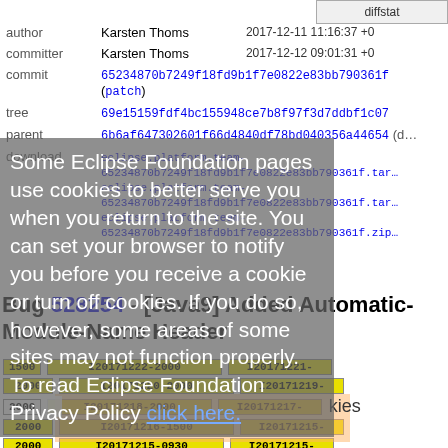| field | value | date |
| --- | --- | --- |
| author | Karsten Thoms | 2017-12-11 11:16:37 +0 |
| committer | Karsten Thoms | 2017-12-12 09:01:31 +0 |
| commit | 65234870b7249f18fd9b1f7e0822e83bb790361f (patch) |  |
| tree | 69e15159fdf4bc155948ce7b8f97f3d7ddbf1c07 |  |
| parent | 6b6af647302601f66d4840df78bd040356a44654 (d… |  |
| download | eclipse.platform.team-65234870b7249f18fd9b1f7e0822e83bb790361f.tar… eclipse.platform.team-65234870b7249f18fd9b1f7e0822e83bb790361f.tar… eclipse.platform.team-65234870b7249f18fd9b1f7e0822e83bb790361f.zip… |  |
Some Eclipse Foundation pages use cookies to better serve you when you return to the site. You can set your browser to notify you before you receive a cookie or turn off cookies. If you do so, however, some areas of some sites may not function properly. To read Eclipse Foundation Privacy Policy click here.
Bug 528254 - [Java9] Added Automatic-Module-Name Header
[Figure (other): Build version badges: I20171223-1500, I20171222-2000, I20171221-2000, I20171220-2000, I20171219-2000, I20171218-2000, I20171217-2000, I20171216-1500, I20171215-2000, I20171215-0930, I20171215-...]